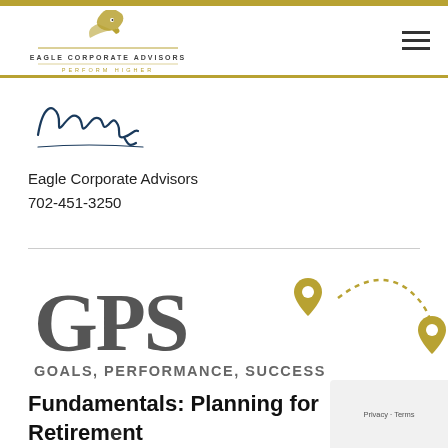Eagle Corporate Advisors — Perform Higher
[Figure (logo): Eagle Corporate Advisors logo with eagle head graphic and text 'EAGLE CORPORATE ADVISORS PERFORM HIGHER']
[Figure (illustration): Handwritten signature 'Chuck' in cursive]
Eagle Corporate Advisors
702-451-3250
[Figure (logo): GPS Goals, Performance, Success logo with gold location pin icons and dotted path connecting two pins, large grey GPS text with subtitle 'GOALS, PERFORMANCE, SUCCESS']
Fundamentals: Planning for Retirement Part II